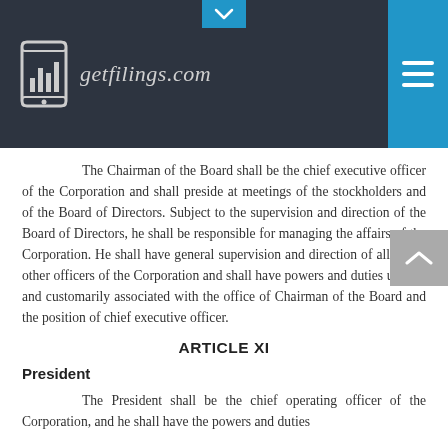getfilings.com
The Chairman of the Board shall be the chief executive officer of the Corporation and shall preside at meetings of the stockholders and of the Board of Directors. Subject to the supervision and direction of the Board of Directors, he shall be responsible for managing the affairs of the Corporation. He shall have general supervision and direction of all of the other officers of the Corporation and shall have powers and duties usually and customarily associated with the office of Chairman of the Board and the position of chief executive officer.
ARTICLE XI
President
The President shall be the chief operating officer of the Corporation, and he shall have the powers and duties